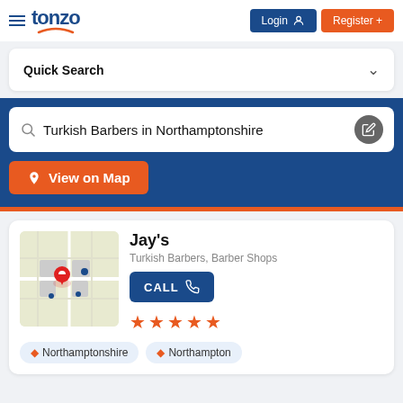tonzo — Login | Register
Quick Search
Turkish Barbers in Northamptonshire
View on Map
Jay's
Turkish Barbers, Barber Shops
CALL
★★★★★
Northamptonshire | Northampton